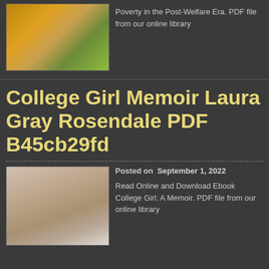[Figure (photo): Woman in yellow/orange outfit sitting among autumn leaves]
Poverty in the Post-Welfare Era. PDF file from our online library
College Girl Memoir Laura Gray Rosendale PDF B45cb29fd
Posted on  September 1, 2022
[Figure (photo): Portrait of a young woman with long brown hair]
Read Online and Download Ebook College Girl: A Memoir. PDF file from our online library